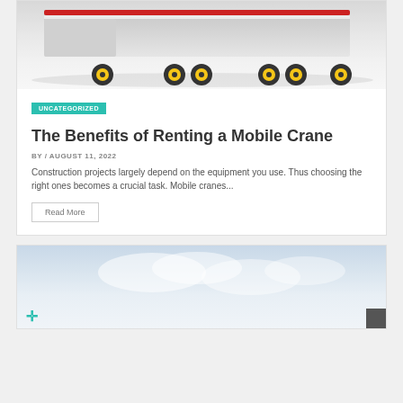[Figure (photo): Bottom portion of a heavy truck/crane transport vehicle with yellow wheels on a light gray background]
UNCATEGORIZED
The Benefits of Renting a Mobile Crane
BY / AUGUST 11, 2022
Construction projects largely depend on the equipment you use. Thus choosing the right ones becomes a crucial task. Mobile cranes...
Read More
[Figure (photo): Light blue sky image, partial view of the bottom of the second article card with a teal cross/plus icon at bottom left and a dark box at bottom right]